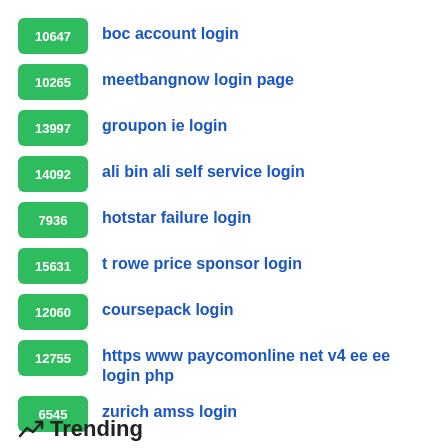10647 boc account login
10265 meetbangnow login page
13997 groupon ie login
14092 ali bin ali self service login
7936 hotstar failure login
15631 t rowe price sponsor login
12060 coursepack login
12755 https www paycomonline net v4 ee ee login php
6545 zurich amss login
Trending